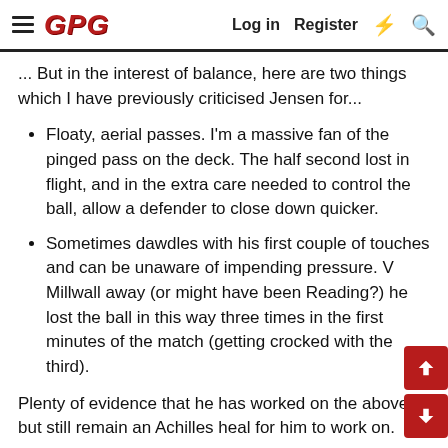GPG | Log in | Register
... But in the interest of balance, here are two things which I have previously criticised Jensen for...
Floaty, aerial passes. I'm a massive fan of the pinged pass on the deck. The half second lost in flight, and in the extra care needed to control the ball, allow a defender to close down quicker.
Sometimes dawdles with his first couple of touches and can be unaware of impending pressure. V Millwall away (or might have been Reading?) he lost the ball in this way three times in the first minutes of the match (getting crocked with the third).
Plenty of evidence that he has worked on the above, but still remain an Achilles heal for him to work on.
On the other hand - some will be staggered to read this - I